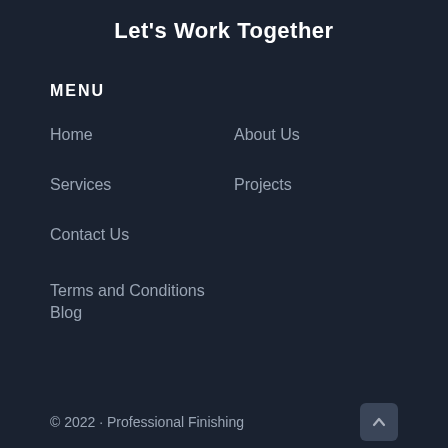Let's Work Together
MENU
Home
About Us
Services
Projects
Contact Us
Terms and Conditions
Blog
© 2022 · Professional Finishing